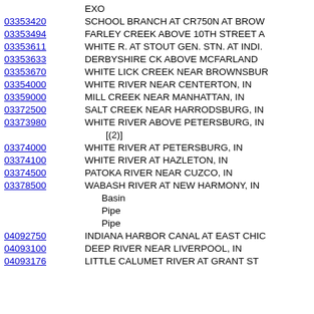EXO
03353420 - SCHOOL BRANCH AT CR750N AT BROW
03353494 - FARLEY CREEK ABOVE 10TH STREET A
03353611 - WHITE R. AT STOUT GEN. STN. AT INDI.
03353633 - DERBYSHIRE CK ABOVE MCFARLAND
03353670 - WHITE LICK CREEK NEAR BROWNSBUR
03354000 - WHITE RIVER NEAR CENTERTON, IN
03359000 - MILL CREEK NEAR MANHATTAN, IN
03372500 - SALT CREEK NEAR HARRODSBURG, IN
03373980 - WHITE RIVER ABOVE PETERSBURG, IN [(2)]
03374000 - WHITE RIVER AT PETERSBURG, IN
03374100 - WHITE RIVER AT HAZLETON, IN
03374500 - PATOKA RIVER NEAR CUZCO, IN
03378500 - WABASH RIVER AT NEW HARMONY, IN
Basin
Pipe
Pipe
04092750 - INDIANA HARBOR CANAL AT EAST CHIC
04093100 - DEEP RIVER NEAR LIVERPOOL, IN
04093176 - LITTLE CALUMET RIVER AT GRANT ST